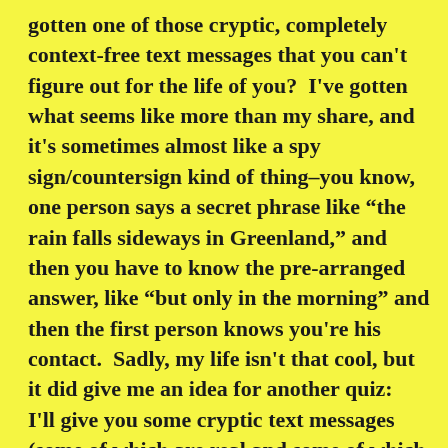gotten one of those cryptic, completely context-free text messages that you can't figure out for the life of you?  I've gotten what seems like more than my share, and it's sometimes almost like a spy sign/countersign kind of thing–you know, one person says a secret phrase like “the rain falls sideways in Greenland,” and then you have to know the pre-arranged answer, like “but only in the morning” and then the first person knows you're his contact.  Sadly, my life isn't that cool, but it did give me an idea for another quiz:  I'll give you some cryptic text messages (some of which are real and some of which I made up), and you